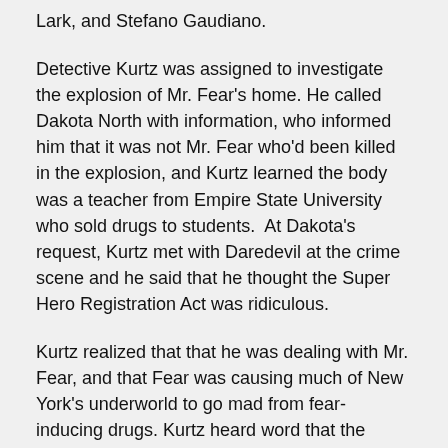Lark, and Stefano Gaudiano.
Detective Kurtz was assigned to investigate the explosion of Mr. Fear's home. He called Dakota North with information, who informed him that it was not Mr. Fear who'd been killed in the explosion, and Kurtz learned the body was a teacher from Empire State University who sold drugs to students. At Dakota's request, Kurtz met with Daredevil at the crime scene and he said that he thought the Super Hero Registration Act was ridiculous.
Kurtz realized that that he was dealing with Mr. Fear, and that Fear was causing much of New York's underworld to go mad from fear-inducing drugs. Kurtz heard word that the Enforcers were fighting the Wrecker and Razor-Fist in the streets. He called Dakota so she could send Daredevil in to help. While the D.A., Foggy Nelson, and Matt Murdock stood by, Kurtz interviewed Mr. Fear, who